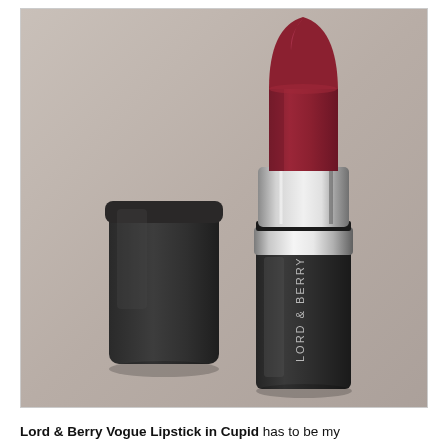[Figure (photo): A Lord & Berry Vogue lipstick in Cupid shade. The lipstick tube is open with a dark matte black square base labeled 'LORD & BERRY' in silver vertical text, a silver metallic collar, and a deep berry/dark red lipstick bullet extended. The cap (also matte black square) is placed to the left of the tube. Background is a warm greige/taupe gradient.]
Lord & Berry Vogue Lipstick in Cupid has to be my